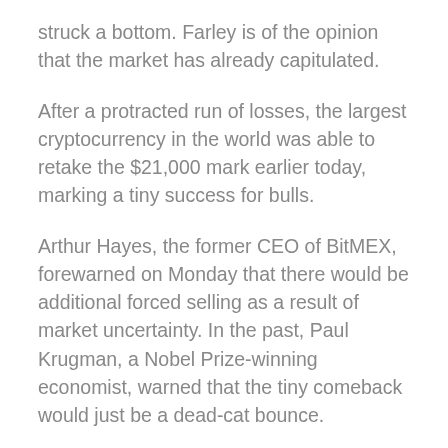struck a bottom. Farley is of the opinion that the market has already capitulated.
After a protracted run of losses, the largest cryptocurrency in the world was able to retake the $21,000 mark earlier today, marking a tiny success for bulls.
Arthur Hayes, the former CEO of BitMEX, forewarned on Monday that there would be additional forced selling as a result of market uncertainty. In the past, Paul Krugman, a Nobel Prize-winning economist, warned that the tiny comeback would just be a dead-cat bounce.
Chris Burniske, a cryptocurrency analyst, recently tweeted that he would not be surprised if BTC fell